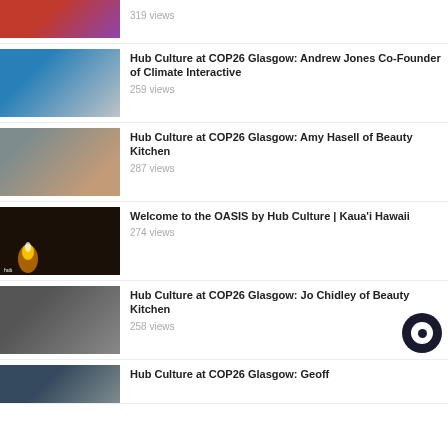[Figure (screenshot): Partial video thumbnail at top - two people, red and purple clothing]
319 views
[Figure (screenshot): Video thumbnail - two people at a table, man in suit and woman]
Hub Culture at COP26 Glasgow: Andrew Jones Co-Founder of Climate Interactive
259 views
[Figure (screenshot): Video thumbnail - young woman with glasses]
Hub Culture at COP26 Glasgow: Amy Hasell of Beauty Kitchen
287 views
[Figure (screenshot): Video thumbnail - man smiling with torch/fire lighting, dark background, floral shirt]
Welcome to the OASIS by Hub Culture | Kaua'i Hawaii
274 views
[Figure (screenshot): Video thumbnail - woman with glasses, dark clothing]
Hub Culture at COP26 Glasgow: Jo Chidley of Beauty Kitchen
258 views
[Figure (screenshot): Partial video thumbnail at bottom]
Hub Culture at COP26 Glasgow: Geoff